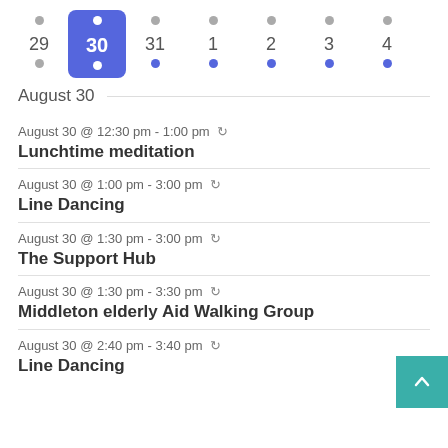[Figure (other): Weekly calendar strip showing days 29, 30 (selected/highlighted in blue), 31, 1, 2, 3, 4 with dot indicators. Day 30 is highlighted with a blue rounded rectangle background.]
August 30
August 30 @ 12:30 pm - 1:00 pm
Lunchtime meditation
August 30 @ 1:00 pm - 3:00 pm
Line Dancing
August 30 @ 1:30 pm - 3:00 pm
The Support Hub
August 30 @ 1:30 pm - 3:30 pm
Middleton elderly Aid Walking Group
August 30 @ 2:40 pm - 3:40 pm
Line Dancing